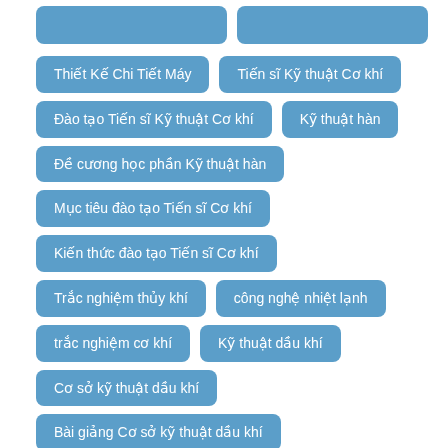Thiết Kế Chi Tiết Máy
Tiến sĩ Kỹ thuật Cơ khí
Đào tạo Tiến sĩ Kỹ thuật Cơ khí
Kỹ thuật hàn
Đề cương học phần Kỹ thuật hàn
Mục tiêu đào tạo Tiến sĩ Cơ khí
Kiến thức đào tạo Tiến sĩ Cơ khí
Trắc nghiệm thủy khí
công nghệ nhiệt lạnh
trắc nghiệm cơ khí
Kỹ thuật dầu khí
Cơ sở kỹ thuật dầu khí
Bài giảng Cơ sở kỹ thuật dầu khí
Cơ sở khoan dầu khí
Giếng khoan dầu